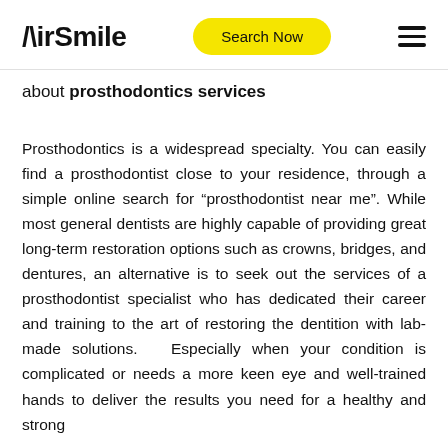AirSmile | Search Now
about prosthodontics services
Prosthodontics is a widespread specialty. You can easily find a prosthodontist close to your residence, through a simple online search for “prosthodontist near me”. While most general dentists are highly capable of providing great long-term restoration options such as crowns, bridges, and dentures, an alternative is to seek out the services of a prosthodontist specialist who has dedicated their career and training to the art of restoring the dentition with lab-made solutions. Especially when your condition is complicated or needs a more keen eye and well-trained hands to deliver the results you need for a healthy and strong